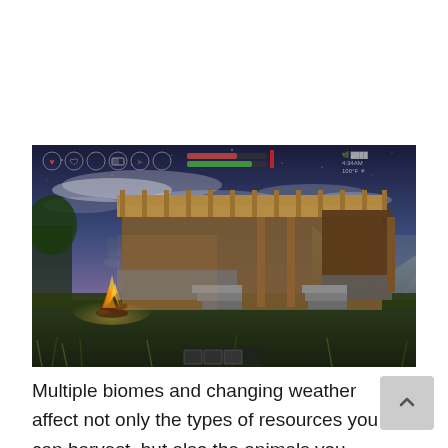[Figure (screenshot): Video game screenshot showing a wooden log cabin/structure with a campfire burning in the foreground, tall grass, and a twilight sky with clouds. The game HUD is visible at the top with health/status icons on the left and time/weather info on the right. An inventory bar is visible at the bottom center.]
Multiple biomes and changing weather affect not only the types of resources you can harvest, but also the animals you